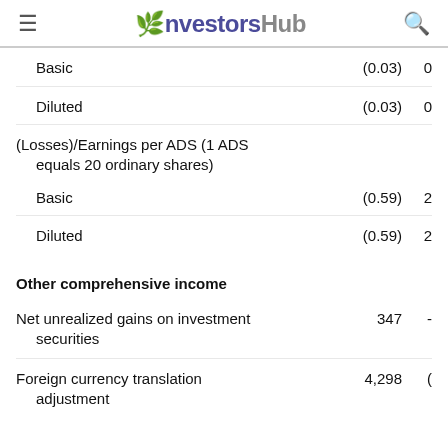investorsHub
|  | Col1 | Col2 |
| --- | --- | --- |
| Basic | (0.03) | 0 |
| Diluted | (0.03) | 0 |
| (Losses)/Earnings per ADS (1 ADS equals 20 ordinary shares) |  |  |
| Basic | (0.59) | 2 |
| Diluted | (0.59) | 2 |
| Other comprehensive income |  |  |
| Net unrealized gains on investment securities | 347 | - |
| Foreign currency translation adjustment | 4,298 | ( |